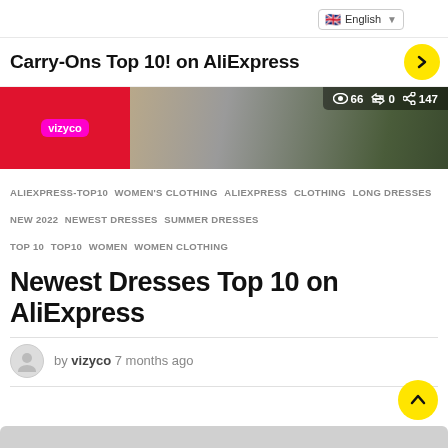English (language selector dropdown)
Carry-Ons Top 10! on AliExpress
[Figure (screenshot): Thumbnail image with vizyco logo on red background on left, person with light hair on right. Stats overlay showing: 66 views, 0 reshares, 147 shares.]
ALIEXPRESS-TOP10   WOMEN'S CLOTHING   ALIEXPRESS   CLOTHING   LONG DRESSES   NEW 2022   NEWEST DRESSES   SUMMER DRESSES   TOP 10   TOP10   WOMEN   WOMEN CLOTHING
Newest Dresses Top 10 on AliExpress
by vizyco 7 months ago